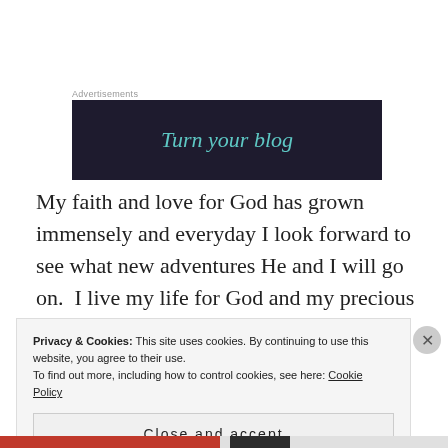Advertisements
[Figure (illustration): Dark navy advertisement banner with teal italic text reading 'Turn your blog']
My faith and love for God has grown immensely and everyday I look forward to see what new adventures He and I will go on.  I live my life for God and my precious family.  I love all He has done for me and the changes I am going
Privacy & Cookies: This site uses cookies. By continuing to use this website, you agree to their use.
To find out more, including how to control cookies, see here: Cookie Policy
Close and accept